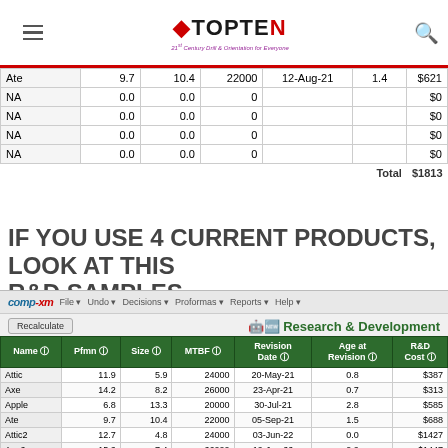TopTen — 21st Century Drill & Orientation for Everyone
| Name | Pfmn | Size | MTBF | Revision Date | Age at Revision | R&D Cost |
| --- | --- | --- | --- | --- | --- | --- |
| Ate | 9.7 | 10.4 | 22000 | 12-Aug-21 | 1.4 | $621 |
| NA | 0.0 | 0.0 | 0 |  |  | $0 |
| NA | 0.0 | 0.0 | 0 |  |  | $0 |
| NA | 0.0 | 0.0 | 0 |  |  | $0 |
| NA | 0.0 | 0.0 | 0 |  |  | $0 |
| Total |  |  |  |  |  | $1813 |
IF YOU USE 4 CURRENT PRODUCTS, LOOK AT THIS R&D SAMPLES
comp-xm  File  Undo  Decisions  Proformas  Reports  Help
| Name | Pfmn | Size | MTBF | Revision Date | Age at Revision | R&D Cost |
| --- | --- | --- | --- | --- | --- | --- |
| Attic | 11.9 | 5.9 | 24000 | 20-May-21 | 0.8 | $387 |
| Axe | 14.2 | 8.2 | 26000 | 23-Apr-21 | 0.7 | $313 |
| Apple | 6.8 | 13.3 | 20000 | 30-Jul-21 | 2.8 | $585 |
| Ate | 9.7 | 10.4 | 22000 | 05-Sep-21 | 1.5 | $688 |
| Attic2 | 12.7 | 4.8 | 24000 | 03-Jun-22 | 0.0 | $1427 |
| Axe2 | 15.2 | 7.4 | 26000 | 19-Jun-22 | 0.0 | $1447 |